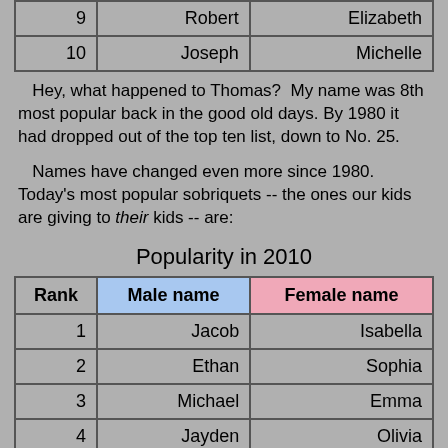|  | Male name | Female name |
| --- | --- | --- |
| 9 | Robert | Elizabeth |
| 10 | Joseph | Michelle |
Hey, what happened to Thomas?  My name was 8th most popular back in the good old days. By 1980 it had dropped out of the top ten list, down to No. 25.
Names have changed even more since 1980. Today's most popular sobriquets -- the ones our kids are giving to their kids -- are:
Popularity in 2010
| Rank | Male name | Female name |
| --- | --- | --- |
| 1 | Jacob | Isabella |
| 2 | Ethan | Sophia |
| 3 | Michael | Emma |
| 4 | Jayden | Olivia |
| 5 | William | Ava |
| 6 | Alexander | Emily |